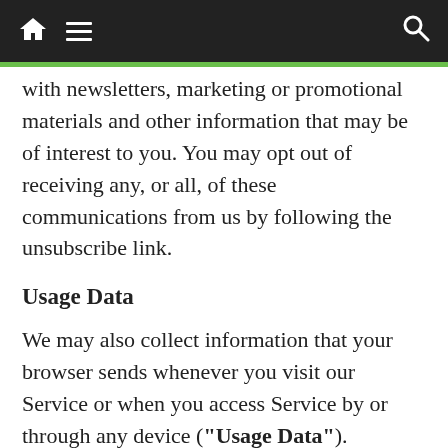Navigation bar with home, menu, and search icons
with newsletters, marketing or promotional materials and other information that may be of interest to you. You may opt out of receiving any, or all, of these communications from us by following the unsubscribe link.
Usage Data
We may also collect information that your browser sends whenever you visit our Service or when you access Service by or through any device (“Usage Data”).
This Usage Data may include information such as your computer’s Internet Protocol address (e.g. IP address), browser type, browser